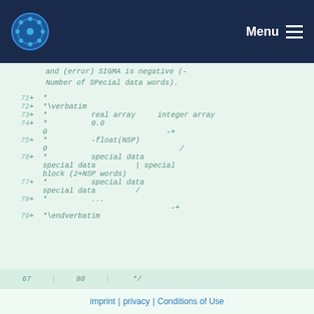BEST | Menu
and (error) SIGMA is negative (-
    Number of SPecial data words).
71  +  *
72  +  *\verbatim
73  +  *          real array      integer array
74  +  *          0.0
    0                           -+
75  +  *          -float(NSP)
    0                           /
76  +  *          special data
    special data        | special
    block (2+NSP words)
77  +  *          special data
    special data        /
78  +  *          ...
                                -+
79  +  *\endverbatim
67  80  */
imprint | privacy | Conditions of Use